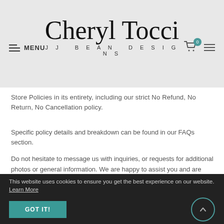Cheryl Tocci JJ Bean Designs — MENU, cart (0)
Store Policies in its entirety, including our strict No Refund, No Return, No Cancellation policy.
Specific policy details and breakdown can be found in our FAQs section.
Do not hesitate to message us with inquiries, or requests for additional photos or general information. We are happy to assist you and are committed to positive customer experiences.
This website uses cookies to ensure you get the best experience on our website. Learn More. GOT IT!